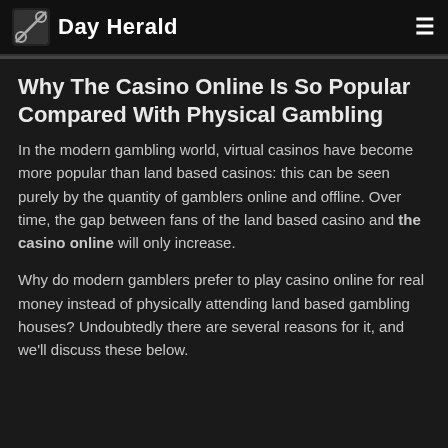Day Herald
Why The Casino Online Is So Popular Compared With Physical Gambling
In the modern gambling world, virtual casinos have become more popular than land based casinos: this can be seen purely by the quantity of gamblers online and offline. Over time, the gap between fans of the land based casino and the casino online will only increase.
Why do modern gamblers prefer to play casino online for real money instead of physically attending land based gambling houses? Undoubtedly there are several reasons for it, and we'll discuss these below.